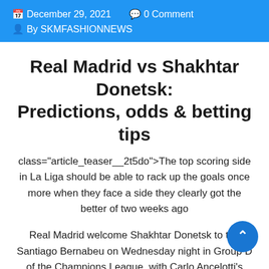December 29, 2021   0 Comment   By SKMFASHIONNEWS
Real Madrid vs Shakhtar Donetsk: Predictions, odds & betting tips
class="article_teaser__2t5do">The top scoring side in La Liga should be able to rack up the goals once more when they face a side they clearly got the better of two weeks ago
Real Madrid welcome Shakhtar Donetsk to the Santiago Bernabeu on Wednesday night in Group D of the Champions League, with Carlo Ancelotti's men aiming to get back to winning ways in front of their own fans
Their last home European game saw them suffer a shock